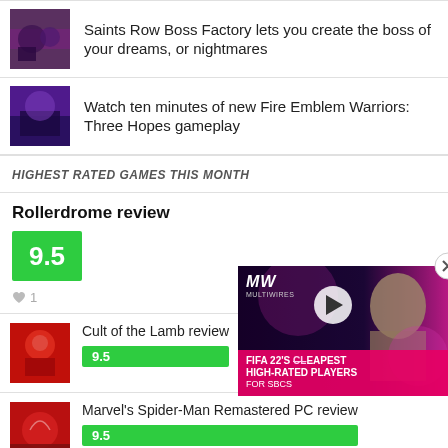Saints Row Boss Factory lets you create the boss of your dreams, or nightmares
Watch ten minutes of new Fire Emblem Warriors: Three Hopes gameplay
HIGHEST RATED GAMES THIS MONTH
Rollerdrome review
9.5
♥ 1
Cult of the Lamb review
9.5
Marvel's Spider-Man Remastered PC review
9.5
[Figure (screenshot): Video overlay showing FIFA 22's cheapest high-rated players for SBCs with MW logo and play button]